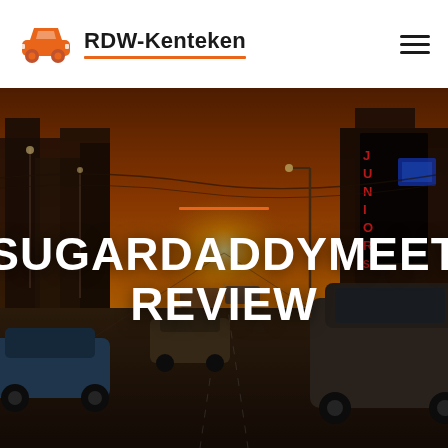RDW-Kenteken
[Figure (photo): Urban street scene at golden hour/sunset with cars in traffic and illuminated city buildings including a 'Juniors' sign in neon, warm orange sky]
SUGARDADDYMEET REVIEW